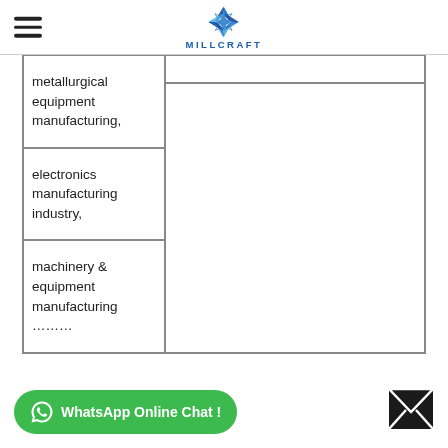MILLCRAFT
metallurgical equipment manufacturing,
electronics manufacturing industry,
machinery & equipment manufacturing
………
WhatsApp Online Chat !